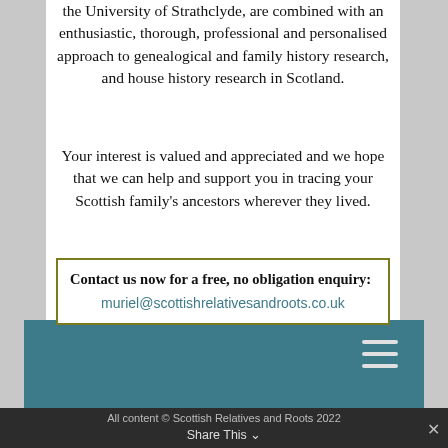the University of Strathclyde, are combined with an enthusiastic, thorough, professional and personalised approach to genealogical and family history research, and house history research in Scotland.
Your interest is valued and appreciated and we hope that we can help and support you in tracing your Scottish family's ancestors wherever they lived.
Contact us now for a free, no obligation enquiry: muriel@scottishrelativesandroots.co.uk
All content © Scottish Relatives and Roots 2022
Share This